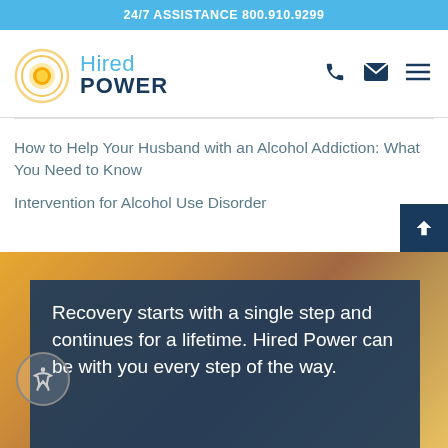24/7 ASSISTANCE 800.910.9299
[Figure (logo): Hired Power logo with circular sun/orbit graphic in orange and yellow, with 'Hired' in light blue and 'POWER' in dark navy bold text]
How to Help Your Husband with an Alcohol Addiction: What You Need to Know
Intervention for Alcohol Use Disorder
Recovery starts with a single step and continues for a lifetime. Hired Power can be with you every step of the way.